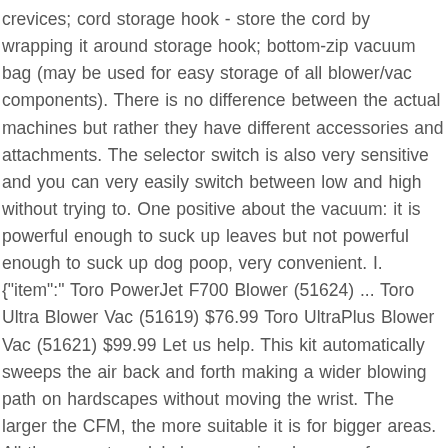crevices; cord storage hook - store the cord by wrapping it around storage hook; bottom-zip vacuum bag (may be used for easy storage of all blower/vac components). There is no difference between the actual machines but rather they have different accessories and attachments. The selector switch is also very sensitive and you can very easily switch between low and high without trying to. One positive about the vacuum: it is powerful enough to suck up leaves but not powerful enough to suck up dog poop, very convenient. I. {"item":" Toro PowerJet F700 Blower (51624) ... Toro Ultra Blower Vac (51619) $76.99 Toro UltraPlus Blower Vac (51621) $99.99 Let us help. This kit automatically sweeps the air back and forth making a wider blowing path on hardscapes without moving the wrist. The larger the CFM, the more suitable it is for bigger areas. All the current models have varying degrees of power but the majority of which are seen as inferior to the handheld gas-powered ones... Toro . amzn_assoc_ad_type = "smart"; $99.99) SKU: 51621 Shipping: Calculated at Checkout Air Speed: 250 mph (402 kph) maximum...